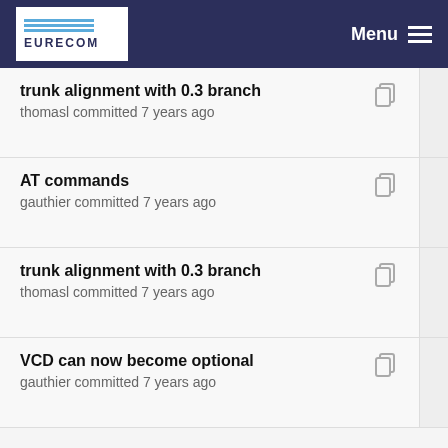EURECOM | Menu
trunk alignment with 0.3 branch
thomasl committed 7 years ago
AT commands
gauthier committed 7 years ago
trunk alignment with 0.3 branch
thomasl committed 7 years ago
VCD can now become optional
gauthier committed 7 years ago